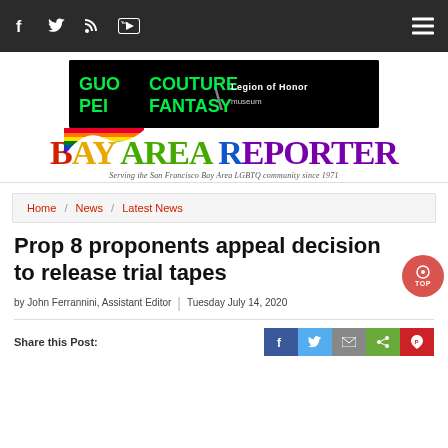Navigation bar with social icons: Facebook, Twitter, RSS, YouTube, and hamburger menu
[Figure (photo): Advertisement banner for Guo Pei Couture Fantasy at Legion of Honor museum, black background with green neon text]
[Figure (logo): Bay Area Reporter logo with rainbow flag graphic and tagline: Serving the San Francisco Bay Area LGBTQ community since 1971]
Home / News / Latest News
Prop 8 proponents appeal decision to release trial tapes
by John Ferrannini, Assistant Editor | Tuesday July 14, 2020
Share this Post: